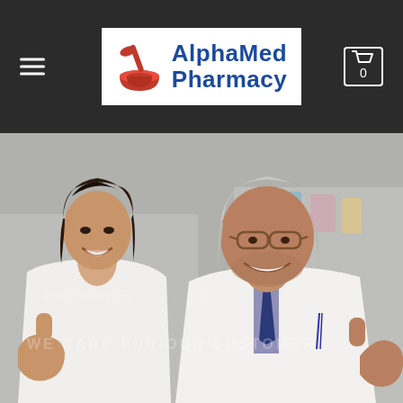[Figure (logo): AlphaMed Pharmacy logo with red mortar and pestle icon and blue text on white background, displayed in dark navigation header bar with hamburger menu on left and shopping cart (0) on right]
[Figure (photo): Two pharmacists in white lab coats giving thumbs up, smiling at camera. Female pharmacist on left with dark hair, male pharmacist on right with gray hair and glasses. Watermark text visible reading 'intercontinents.com' and 'WE CARE FOR OUR CUSTOMER'. Pharmacy store shelves visible in blurred background.]